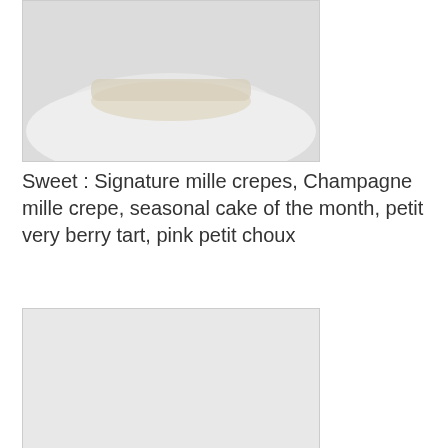[Figure (photo): Close-up photo of a dessert on a white plate, partially visible at top of page]
Sweet : Signature mille crepes, Champagne mille crepe, seasonal cake of the month, petit very berry tart, pink petit choux
[Figure (photo): Photo of a savoury food item, light grey/white background]
Savoury : Lobster toast, truffle cream crab tartlet, mushroom duxelle vol-au-vent, egg mayo sandwich, cucumber & cream cheese sandwich
I especially enjoyed the pink petit choux, seasonal cake of the month (strawberry shortcake), lobster toast, truffle cream